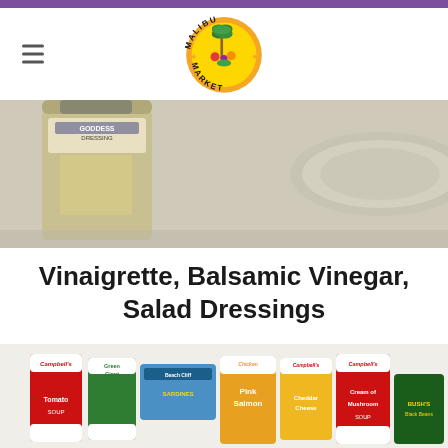[Figure (logo): Malibu Market logo — circular badge with palm trees and colorful fruits/vegetables, text reading MALIBU MARKET around the circle]
[Figure (photo): Photo of salad dressing bottles including a Goddess Dressing bottle and a jar lid, on a light background]
Vinaigrette, Balsamic Vinegar, Salad Dressings
[Figure (photo): Photo of assorted canned goods including Campbell's Tomato Soup, Campbell's Cream of Mushroom Soup, Pink Salmon (Chicken of the Sea), Green Giant, Del Monte, Bush's Black Beans, Beach Cliff Sardines, and other cans]